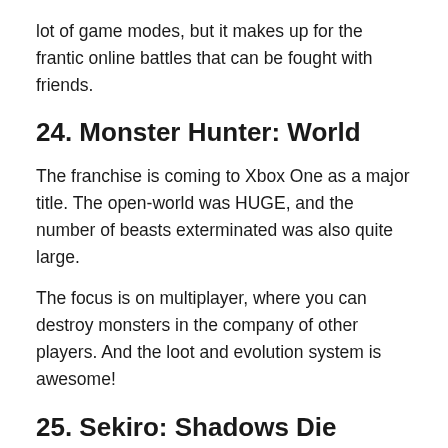lot of game modes, but it makes up for the frantic online battles that can be fought with friends.
24. Monster Hunter: World
The franchise is coming to Xbox One as a major title. The open-world was HUGE, and the number of beasts exterminated was also quite large.
The focus is on multiplayer, where you can destroy monsters in the company of other players. And the loot and evolution system is awesome!
25. Sekiro: Shadows Die Twice
An action and adventure game set in Japanese mythology, bringing many interesting elements from Buddhist history and philosophy.